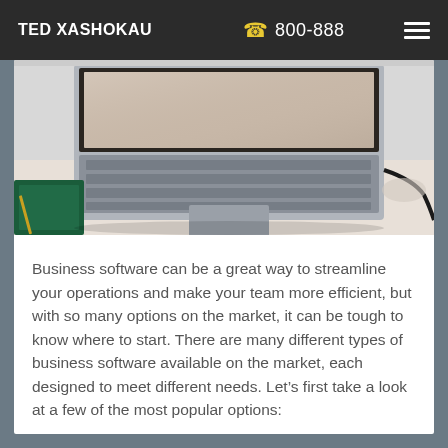TED XASHOKAU   800-888
[Figure (photo): Close-up photo of a laptop computer on a desk with a notebook and glasses partially visible in the background]
Business software can be a great way to streamline your operations and make your team more efficient, but with so many options on the market, it can be tough to know where to start. There are many different types of business software available on the market, each designed to meet different needs. Let’s first take a look at a few of the most popular options: